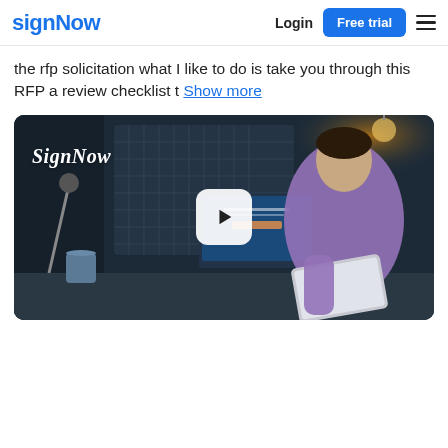signNow — Login | Free trial
the rfp solicitation what I like to do is take you through this RFP a review checklist t Show more
[Figure (screenshot): SignNow promotional video thumbnail showing a man in a purple shirt looking at a tablet, with a dark office background, a computer monitor displaying the SignNow website, a mug, and a 'SignNow' script logo in the upper left. A white rounded play button is centered on the image.]